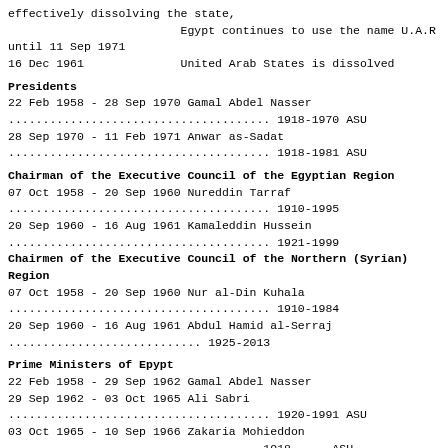effectively dissolving the state,
                         Egypt continues to use the name U.A.R until 11 Sep 1971
16 Dec 1961              United Arab States is dissolved
Presidents
22 Feb 1958 - 28 Sep 1970 Gamal Abdel Nasser
...................................... 1918-1970 ASU
28 Sep 1970 - 11 Feb 1971 Anwar as-Sadat
...................................... 1918-1981 ASU
Chairman of the Executive Council of the Egyptian Region
07 Oct 1958 - 20 Sep 1960 Nureddin Tarraf
...................................... 1910-1995
20 Sep 1960 - 16 Aug 1961 Kamaleddin Hussein
...................................... 1921-1999
Chairmen of the Executive Council of the Northern (Syrian) Region
07 Oct 1958 - 20 Sep 1960 Nur al-Din Kuhala
...................................... 1910-1984
20 Sep 1960 - 16 Aug 1961 Abdul Hamid al-Serraj
............................ 1925-2013
Prime Ministers of Epypt
22 Feb 1958 - 29 Sep 1962 Gamal Abdel Nasser
29 Sep 1962 - 03 Oct 1965 Ali Sabri
...................................... 1920-1991 ASU
03 Oct 1965 - 10 Sep 1966 Zakaria Mohieddon
.................................... 1918-     ASU
10 Sep 1966 - 19 Jun 1967 Mohammed Sedki Sulayman
................... 1919-1996 ASU
19 Jun 1967 - 20 Sep 1970 Gamal Abdel Nasser (3rd Time)